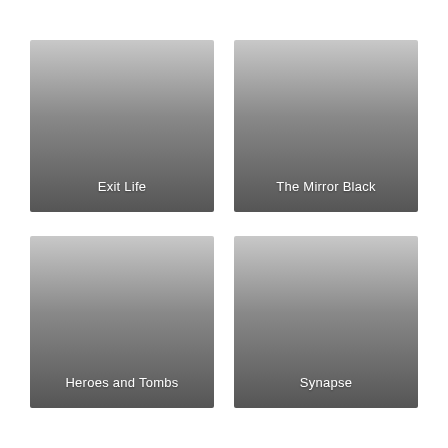[Figure (illustration): Thumbnail card with gradient background, labeled 'Exit Life']
[Figure (illustration): Thumbnail card with gradient background, labeled 'The Mirror Black']
[Figure (illustration): Thumbnail card with gradient background, labeled 'Heroes and Tombs']
[Figure (illustration): Thumbnail card with gradient background, labeled 'Synapse']